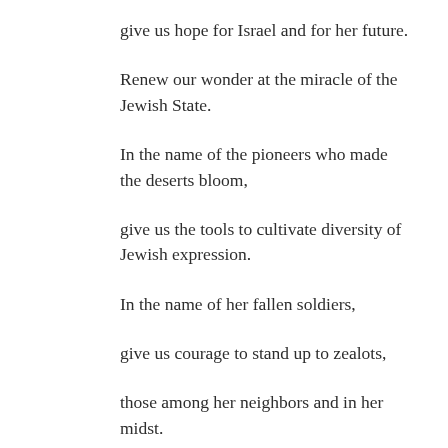give us hope for Israel and for her future.
Renew our wonder at the miracle of the Jewish State.
In the name of the pioneers who made the deserts bloom,
give us the tools to cultivate diversity of Jewish expression.
In the name of her fallen soldiers,
give us courage to stand up to zealots,
those among her neighbors and in her midst.